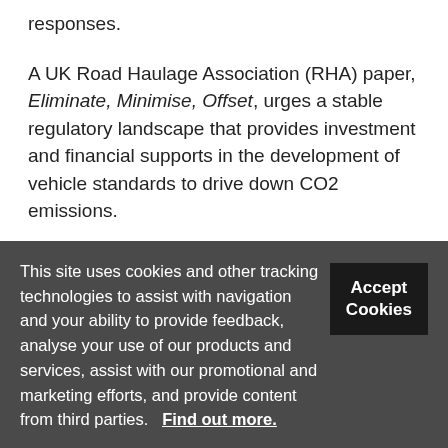responses.
A UK Road Haulage Association (RHA) paper, Eliminate, Minimise, Offset, urges a stable regulatory landscape that provides investment and financial supports in the development of vehicle standards to drive down CO2 emissions.
Chief executive Richard Burnett said: “Both political ambition and technological potential to reduce UK
This site uses cookies and other tracking technologies to assist with navigation and your ability to provide feedback, analyse your use of our products and services, assist with our promotional and marketing efforts, and provide content from third parties.  Find out more.